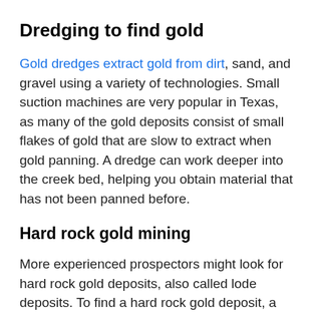Dredging to find gold
Gold dredges extract gold from dirt, sand, and gravel using a variety of technologies. Small suction machines are very popular in Texas, as many of the gold deposits consist of small flakes of gold that are slow to extract when gold panning. A dredge can work deeper into the creek bed, helping you obtain material that has not been panned before.
Hard rock gold mining
More experienced prospectors might look for hard rock gold deposits, also called lode deposits. To find a hard rock gold deposit, a prospector must perform an examination of rocky outcrops and look for exposures of mineral veins or rock types known to host gold